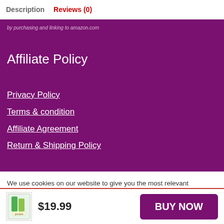Description   Reviews (0)
by purchasing and linking to amazon.com
Affiliate Policy
Privacy Policy
Terms & condition
Affiliate Agreement
Return & Shipping Policy
We use cookies on our website to give you the most relevant experience by remembering your preferences and repeat visits. By clicking “Accept”, you consent to the use of ALL the cookies.
$19.99
BUY NOW